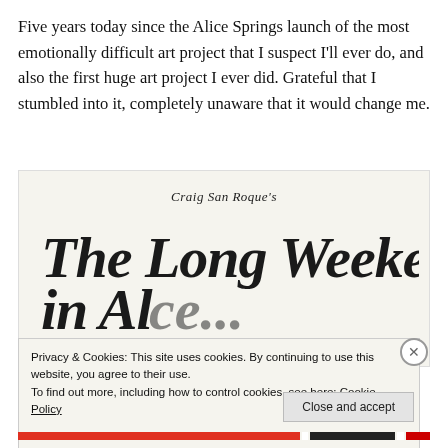Five years today since the Alice Springs launch of the most emotionally difficult art project that I suspect I'll ever do, and also the first huge art project I ever did. Grateful that I stumbled into it, completely unaware that it would change me.
[Figure (illustration): Book cover image on cream/off-white background. Small italic text reads 'Craig San Roque's' above large hand-lettered title text 'The Long Weekend in Al[ice Springs]' — the bottom portion is obscured by the cookie banner overlay.]
Privacy & Cookies: This site uses cookies. By continuing to use this website, you agree to their use.
To find out more, including how to control cookies, see here: Cookie Policy